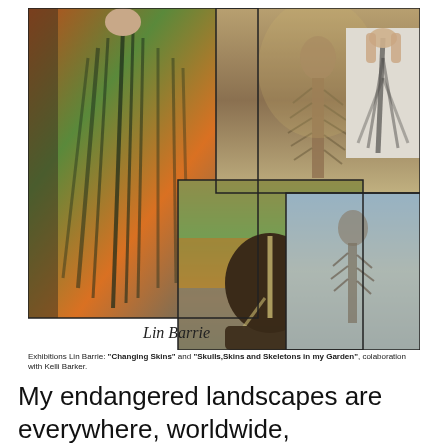[Figure (photo): Collage of five photos related to art exhibitions by Lin Barrie: a woman holding a large zebra-striped artwork, a painting of a spine/skeleton, a woman with zebra body paint from behind, a man with face paint, and a smaller painting of a figure with spine-like pattern. Signature 'Lin Barrie' visible at bottom of collage.]
Exhibitions Lin Barrie: "Changing Skins" and "Skulls,Skins and Skeletons in my Garden", colaboration with Kelli Barker.
My endangered landscapes are everywhere, worldwide, within and without.